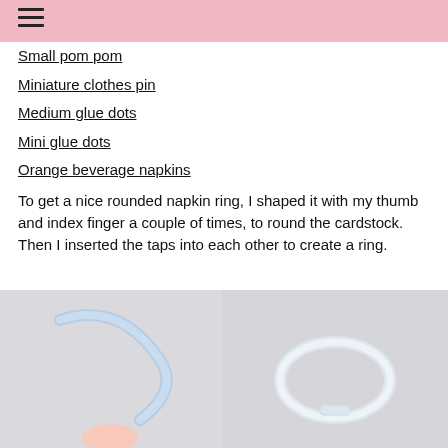Small pom pom
Miniature clothes pin
Medium glue dots
Mini glue dots
Orange beverage napkins
To get a nice rounded napkin ring, I shaped it with my thumb and index finger a couple of times, to round the cardstock. Then I inserted the taps into each other to create a ring.
[Figure (photo): A hand bending a light blue cardstock strip to shape it into a ring]
[Figure (photo): A formed cardstock ring/loop placed on a gray surface]